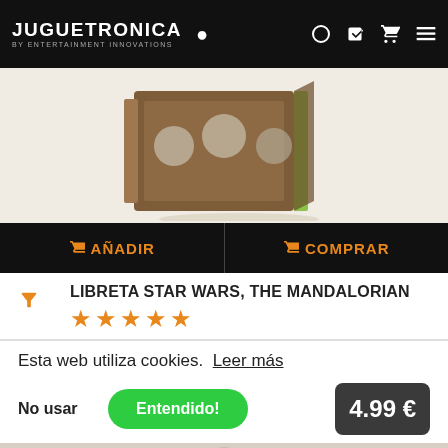JUGUETRONICA BY ENTERTAINMENT INNOVATIONS
[Figure (photo): Product image of Libreta Star Wars The Mandalorian notebook shown at an angle, brown with green accents]
🛒 AÑADIR   🛒 COMPRAR
LIBRETA STAR WARS, THE MANDALORIAN
[Figure (other): 5 orange star rating icons]
Esta web utiliza cookies. Leer más
No usar
Entendido!
4.99 €
[Figure (photo): Bottom partial image of another product]